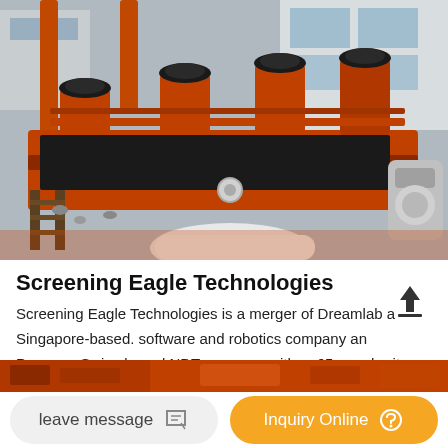[Figure (photo): Industrial machinery — large orange mechanical screening or flotation equipment with multiple impeller/agitator units on top, photographed in an outdoor factory yard. Orange steel frame construction with bolted assembly components in the foreground.]
Screening Eagle Technologies
Screening Eagle Technologies is a merger of Dreamlab a Singapore-based. software and robotics company and Proceq a Swiss-based NDT company with. a 65 year heritage as a market leader in portable sensors. News.
[Figure (photo): Partial bottom strip showing additional industrial/orange equipment.]